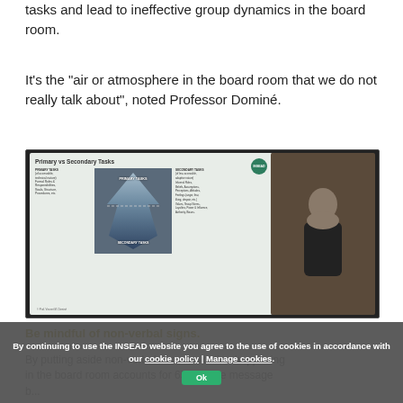tasks and lead to ineffective group dynamics in the board room.
It’s the “air or atmosphere in the board room that we do not really talk about”, noted Professor Dominé.
[Figure (screenshot): A presentation slide titled 'Primary vs Secondary Tasks' showing an iceberg diagram illustrating primary tasks (accessible, technical) vs secondary tasks (less accessible, adaptive). A speaker is visible in the right portion of the screenshot.]
Be mindful of non-verbal signs.
By continuing to use the INSEAD website you agree to the use of cookies in accordance with our cookie policy | Manage cookies.
By putting aside non-verbal communication happening in the board room accounts for 65% of the message b...